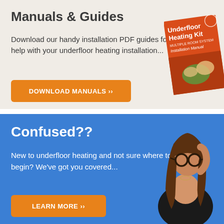Manuals & Guides
Download our handy installation PDF guides for help with your underfloor heating installation...
[Figure (illustration): Orange book cover titled 'Underfloor Heating Kit Multiple Room System Installation Manual' with couple sitting on floor]
DOWNLOAD MANUALS \u00bb
Confused??
New to underfloor heating and not sure where to begin? We've got you covered...
[Figure (photo): Woman with glasses scratching her head looking confused]
LEARN MORE \u00bb